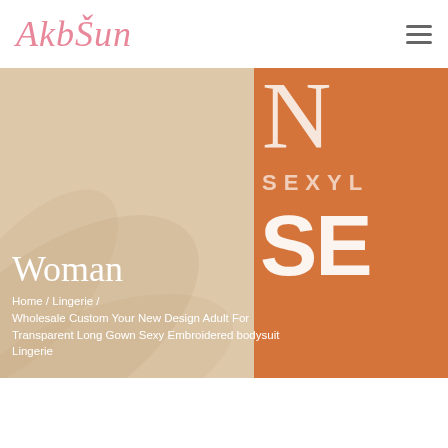[Figure (logo): AkbSun brand logo in cursive pink script]
[Figure (infographic): Hero banner split into two panels: left cream/beige with subtle palm leaf texture, right orange with large white text 'N', 'SEXYL', 'SE' partially visible]
Woman
Home / Lingerie / Wholesale Custom Your New Design Adult For Transparent Long Gown Sexy Embroidered bodysuit Lingerie